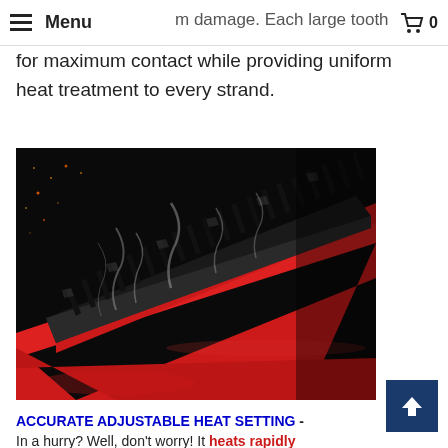Menu  [cart] 0
m damage. Each large tooth gaps allow for maximum contact while providing uniform heat treatment to every strand.
[Figure (photo): Close-up photo of a red and black heated hair straightening brush/comb with smoke rising from the black teeth, set against a dark/black background]
ACCURATE ADJUSTABLE HEAT SETTING -
In a hurry? Well, don't worry! It heats rapidly